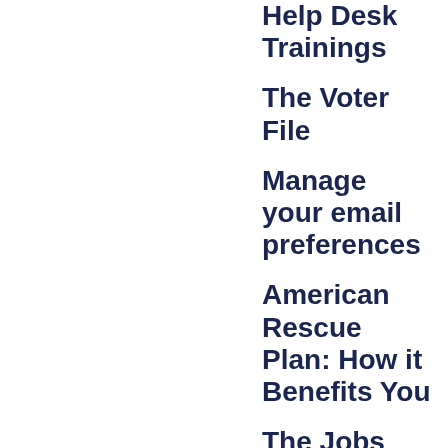Help Desk Trainings
The Voter File
Manage your email preferences
American Rescue Plan: How it Benefits You
The Jobs Act: A Better Future Created for Indiana, Hoosier